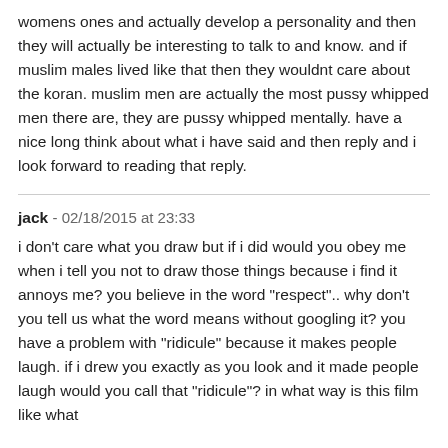womens ones and actually develop a personality and then they will actually be interesting to talk to and know. and if muslim males lived like that then they wouldnt care about the koran. muslim men are actually the most pussy whipped men there are, they are pussy whipped mentally. have a nice long think about what i have said and then reply and i look forward to reading that reply.
jack - 02/18/2015 at 23:33
i don't care what you draw but if i did would you obey me when i tell you not to draw those things because i find it annoys me? you believe in the word "respect".. why don't you tell us what the word means without googling it? you have a problem with "ridicule" because it makes people laugh. if i drew you exactly as you look and it made people laugh would you call that "ridicule"? in what way is this film like what